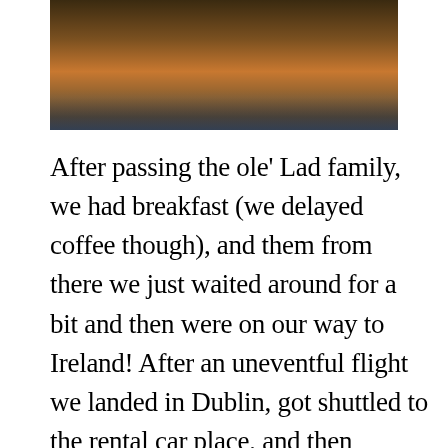[Figure (photo): Partial photo of a golden/brown dog or animal, cropped at top, with blurred background including blue floor reflections]
After passing the ole' Lad family, we had breakfast (we delayed coffee though), and them from there we just waited around for a bit and then were on our way to Ireland! After an uneventful flight we landed in Dublin, got shuttled to the rental car place, and then proceeded to immediately get off route in Dublin. In fairness it was both a new city, our cellphones weren't working properly, and it was also our first time driving on the opposite side of the road, but we were only off track for about 5 minutes or so. Then we were on M1 headed north for Northern Ireland and Belfast!